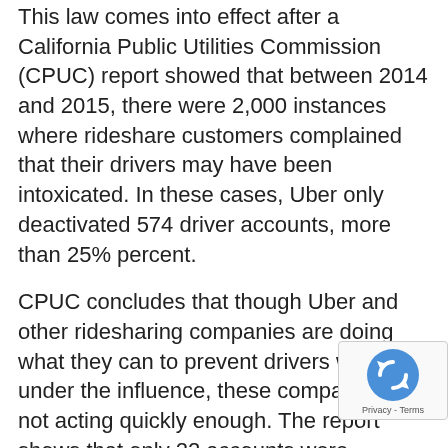This law comes into effect after a California Public Utilities Commission (CPUC) report showed that between 2014 and 2015, there were 2,000 instances where rideshare customers complained that their drivers may have been intoxicated. In these cases, Uber only deactivated 574 driver accounts, more than 25% percent.
CPUC concludes that though Uber and other ridesharing companies are doing what they can to prevent drivers working under the influence, these companies are not acting quickly enough. The report shows that only 22 accounts were suspended within an hour of being filed out of the 154 total complaints.
The California Department of Motor Vehicles, in a statement to the public, declared that they will begin to take action against rideshare drivers reportedly under the influence of drugs or alcohol. The state DMV will begin this action by holding rideshare drivers to a higher standard when driving
[Figure (other): reCAPTCHA badge with rotating arrows icon and Privacy - Terms text]